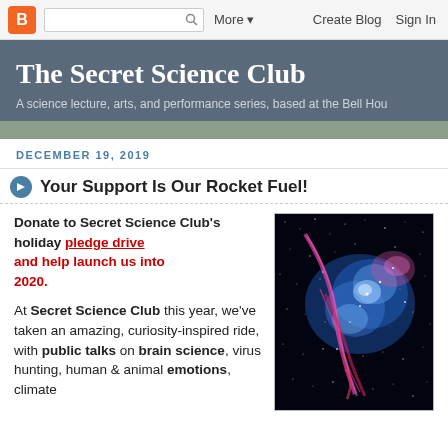B More ▼   Create Blog   Sign In
The Secret Science Club
A science lecture, arts, and performance series, based at the Bell Hou
DECEMBER 19, 2019
Your Support Is Our Rocket Fuel!
Donate to Secret Science Club's holiday pledge drive and help launch us into 2020.
[Figure (photo): Astronomical image showing a galaxy or nebula with blue and pink/red gas clouds against a black starfield]
At Secret Science Club this year, we've taken an amazing, curiosity-inspired ride, with public talks on brain science, virus hunting, human & animal emotions, climate